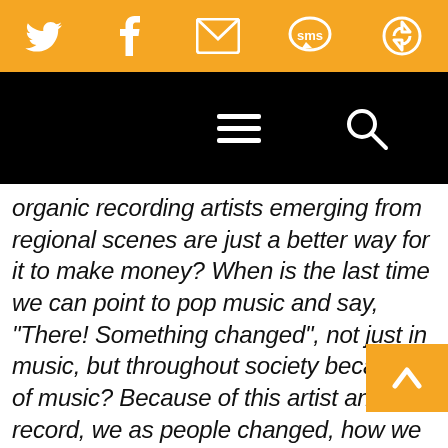[Figure (screenshot): Orange top navigation bar with social media icons: Twitter, Facebook, Email/envelope, SMS speech bubble, and a circular refresh/share icon, all in white on orange background]
[Figure (screenshot): Black navigation bar with hamburger menu icon (three horizontal lines) in center and a search (magnifying glass) icon on the right]
organic recording artists emerging from regional scenes are just a better way for it to make money? When is the last time we can point to pop music and say, “There! Something changed”, not just in music, but throughout society because of music? Because of this artist and this record, we as people changed, how we view the planet changed, how we view each other changed? What if this never happens anymore? What if the wheel is still turning, but more in the matter of a rear tire stuck in mud, unable to get forward, unable to find traction in reverse either?